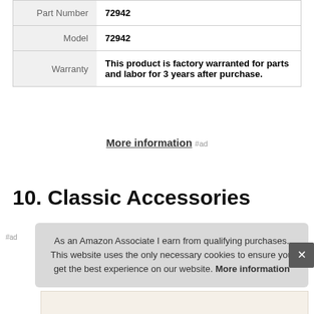| Part Number | 72942 |
| Model | 72942 |
| Warranty | This product is factory warranted for parts and labor for 3 years after purchase. |
More information #ad
10. Classic Accessories
#ad
As an Amazon Associate I earn from qualifying purchases. This website uses the only necessary cookies to ensure you get the best experience on our website. More information